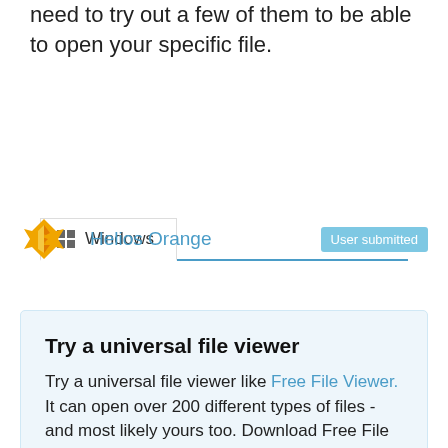need to try out a few of them to be able to open your specific file.
[Figure (screenshot): A Windows tab selector tab with a Windows logo icon and the label 'Windows']
Helios Orange  [User submitted]
Try a universal file viewer
Try a universal file viewer like Free File Viewer. It can open over 200 different types of files - and most likely yours too. Download Free File Viewer here.